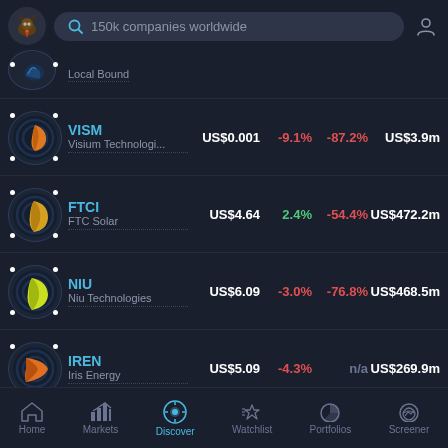150k companies worldwide — search bar
Local Bound (partial row, cut off)
VISM · Visium Technologi... · US$0.001 · -9.1% · -87.2% · US$3.9m
FTCI · FTC Solar · US$4.64 · 2.4% · -54.4% · US$472.2m
NIU · Niu Technologies · US$6.09 · -3.0% · -76.8% · US$468.5m
IREN · Iris Energy · US$5.09 · -4.3% · n/a · US$269.9m
ACTD · ArcLight Clean Tra... · US$7.79 · -24.2% · -21.2% · US$303.0m
Home · Markets · Discover · Watchlist · Portfolios · Screener